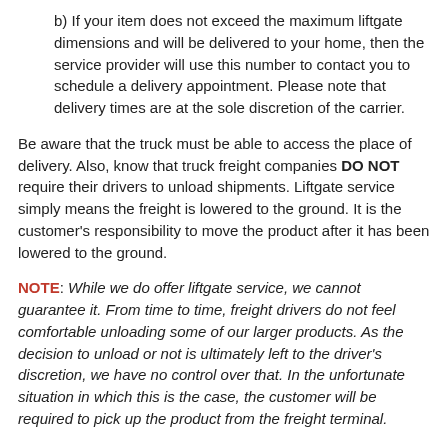b) If your item does not exceed the maximum liftgate dimensions and will be delivered to your home, then the service provider will use this number to contact you to schedule a delivery appointment. Please note that delivery times are at the sole discretion of the carrier.
Be aware that the truck must be able to access the place of delivery. Also, know that truck freight companies DO NOT require their drivers to unload shipments. Liftgate service simply means the freight is lowered to the ground. It is the customer's responsibility to move the product after it has been lowered to the ground.
NOTE: While we do offer liftgate service, we cannot guarantee it. From time to time, freight drivers do not feel comfortable unloading some of our larger products. As the decision to unload or not is ultimately left to the driver's discretion, we have no control over that. In the unfortunate situation in which this is the case, the customer will be required to pick up the product from the freight terminal.